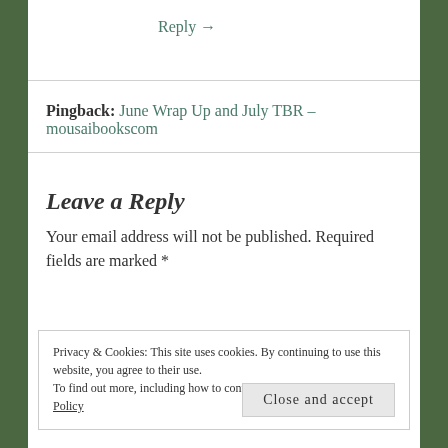Reply →
Pingback: June Wrap Up and July TBR – mousaibookscom
Leave a Reply
Your email address will not be published. Required fields are marked *
Privacy & Cookies: This site uses cookies. By continuing to use this website, you agree to their use.
To find out more, including how to control cookies, see here: Cookie Policy
Close and accept